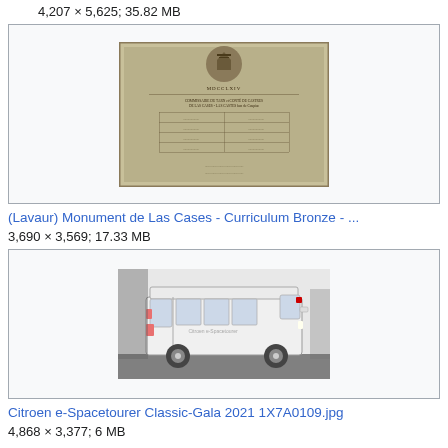4,207 × 5,625; 35.82 MB
[Figure (photo): Stone or bronze plaque with engraved text, historical monument, weathered surface with coat of arms at top]
(Lavaur) Monument de Las Cases - Curriculum Bronze - ...
3,690 × 3,569; 17.33 MB
[Figure (photo): White Citroen e-Spacetourer van photographed from the rear-side, parked on a street]
Citroen e-Spacetourer Classic-Gala 2021 1X7A0109.jpg
4,868 × 3,377; 6 MB